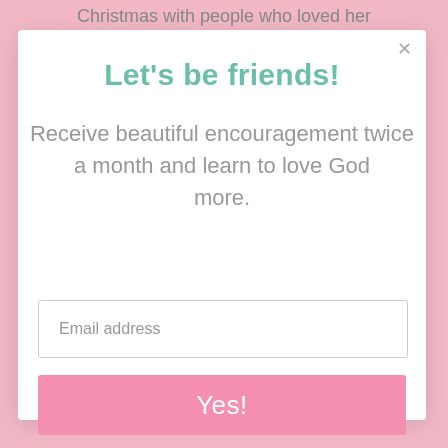Christmas with people who loved her
Let's be friends!
Receive beautiful encouragement twice a month and learn to love God more.
Email address
Yes!